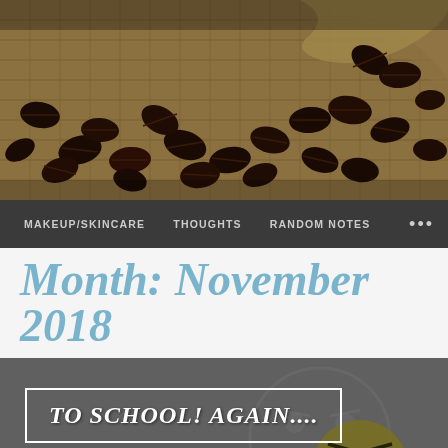[Figure (photo): Hero banner photo showing coffee beans spilling from a burlap sack on a burlap fabric background]
MAKEUP/SKINCARE   THOUGHTS   RANDOM NOTES   ...
Month: November 2018
[Figure (photo): Blog post thumbnail with dark gray background showing a grumpy emoji face. Contains a white-bordered box with text 'TO SCHOOL! AGAIN....' in white italic font]
Follow   ...